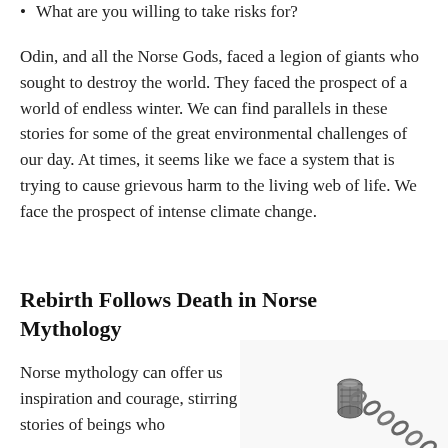What are you willing to take risks for?
Odin, and all the Norse Gods, faced a legion of giants who sought to destroy the world. They faced the prospect of a world of endless winter. We can find parallels in these stories for some of the great environmental challenges of our day. At times, it seems like we face a system that is trying to cause grievous harm to the living web of life. We face the prospect of intense climate change.
Rebirth Follows Death in Norse Mythology
Norse mythology can offer us inspiration and courage, stirring stories of beings who
[Figure (photo): A metallic Norse chain/pendant ornament in silver, showing interlocked rings and a decorative cylindrical clasp with knotwork design.]